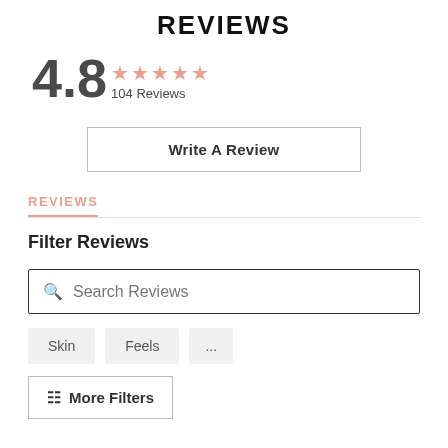REVIEWS
4.8  ★★★★★  104 Reviews
Write A Review
REVIEWS
Filter Reviews
Search Reviews
Skin
Feels
...
More Filters